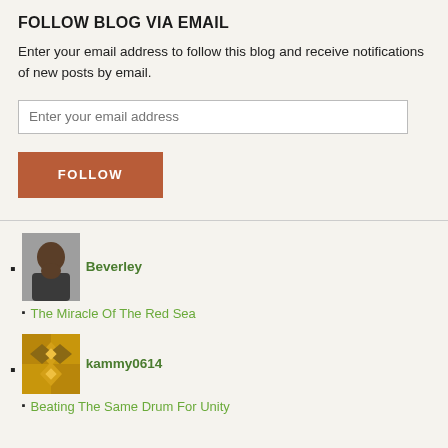FOLLOW BLOG VIA EMAIL
Enter your email address to follow this blog and receive notifications of new posts by email.
Beverley — The Miracle Of The Red Sea
kammy0614 — Beating The Same Drum For Unity